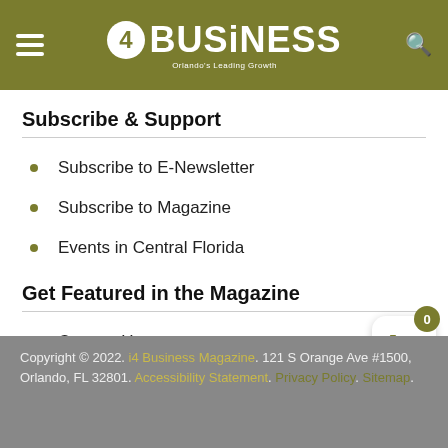4 Business Magazine – navigation header bar with hamburger menu, logo, and search icon
Subscribe & Support
Subscribe to E-Newsletter
Subscribe to Magazine
Events in Central Florida
Get Featured in the Magazine
Contact Us
Media Kit
Copyright © 2022. i4 Business Magazine. 121 S Orange Ave #1500, Orlando, FL 32801. Accessibility Statement. Privacy Policy. Sitemap.